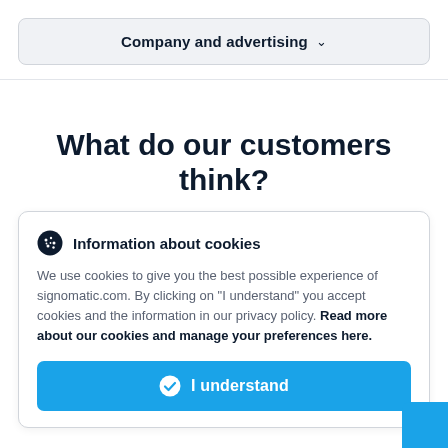Company and advertising ▾
What do our customers think?
Information about cookies
We use cookies to give you the best possible experience of signomatic.com. By clicking on "I understand" you accept cookies and the information in our privacy policy. Read more about our cookies and manage your preferences here.
I understand